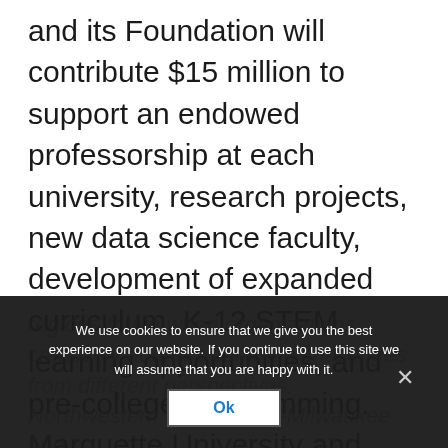and its Foundation will contribute $15 million to support an endowed professorship at each university, research projects, new data science faculty, development of expanded curriculum, K-12 STEM learning opportunities, and pre-college programming. Marquette University and UWM will each invest more than $12 million in data science education and research by existing data science faculty, bringing the total commitment in this effort to nearly $40 million.
regions thrive when organizations creatively address common challenges from different perspectives. Northwestern Mutual, UW-Milwaukee and ...
We use cookies to ensure that we give you the best experience on our website. If you continue to use this site we will assume that you are happy with it.